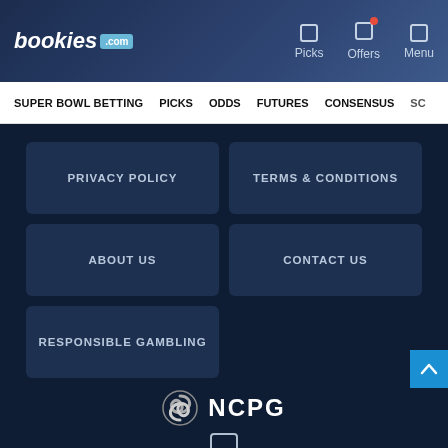bookies.com — Picks | Offers | Menu
SUPER BOWL BETTING | PICKS | ODDS | FUTURES | CONSENSUS | SC
PRIVACY POLICY
TERMS & CONDITIONS
ABOUT US
CONTACT US
RESPONSIBLE GAMBLING
[Figure (logo): NCPG logo — circular swirl icon followed by text NCPG]
[Figure (illustration): Phone/mobile icon outline]
Council on Compulsive Gambling of NJ
800-GAMBLER®